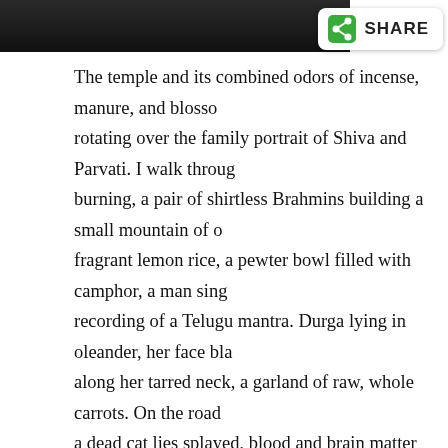[Figure (photo): Dark image at top of page, appears to be a nighttime or low-light photograph]
[Figure (other): Share button with green share icon and bold text 'SHARE' on white rounded rectangle with shadow]
The temple and its combined odors of incense, manure, and blossom rotating over the family portrait of Shiva and Parvati. I walk through burning, a pair of shirtless Brahmins building a small mountain of fragrant lemon rice, a pewter bowl filled with camphor, a man sing recording of a Telugu mantra. Durga lying in oleander, her face bla along her tarred neck, a garland of raw, whole carrots. On the road a dead cat lies splayed, blood and brain matter emerging from a wo
Strange, to think I came to this country, at least partially, to underst have found so little here that reminds me of him. Sometimes I do th raw tamarind, which is midway between citrus and brine, or in the have been him half a century ago. But most days I am a stranger am
Moonlight, bruised, crests over the hills as my friend Niharika, whe dew," pauses at a roadside stall to buy chicken pakora. Mangled clu